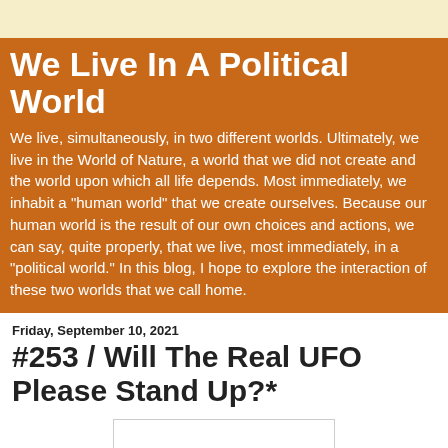We Live In A Political World
We live, simultaneously, in two different worlds. Ultimately, we live in the World of Nature, a world that we did not create and the world upon which all life depends. Most immediately, we inhabit a "human world" that we create ourselves. Because our human world is the result of our own choices and actions, we can say, quite properly, that we live, most immediately, in a "political world." In this blog, I hope to explore the interaction of these two worlds that we call home.
Friday, September 10, 2021
#253 / Will The Real UFO Please Stand Up?*
[Figure (other): Empty white image placeholder box]